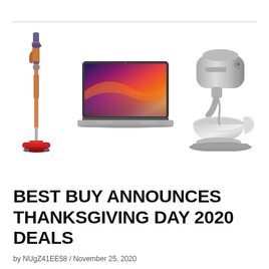[Figure (illustration): Three product images side by side: a Dyson cordless vacuum cleaner (orange/copper stick vacuum), a MacBook Air with colorful macOS Big Sur wallpaper on screen, and a silver KitchenAid stand mixer.]
BEST BUY ANNOUNCES THANKSGIVING DAY 2020 DEALS
by NUgZ41EE58 / November 25, 2020